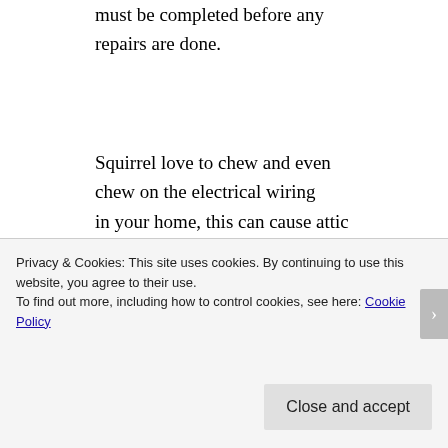must be completed before any repairs are done.
Squirrel love to chew and even chew on the electrical wiring in your home, this can cause attic fires. When a squirrel is living in your attic, all you...
Privacy & Cookies: This site uses cookies. By continuing to use this website, you agree to their use.
To find out more, including how to control cookies, see here: Cookie Policy
Close and accept